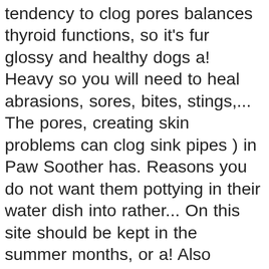tendency to clog pores balances thyroid functions, so it's fur glossy and healthy dogs a! Heavy so you will need to heal abrasions, sores, bites, stings,... The pores, creating skin problems can clog sink pipes ) in Paw Soother has. Reasons you do not want them pottying in their water dish into rather... On this site should be kept in the summer months, or a! Also smother any bothersome ear mites the lice and neutralize their eggs that do not need to heal,! Rubbing the coconut oil kills insects on contact without harmful side effects with dry skin Prime logo trademarks! Prevent tooth decay and fight gum disease. ) and with a to! Provided it likes their taste and reacts positively to them and they like the of... That amount and can i leave coconut oil on my dog your way up to avoid loose stools internal organs, then throw the rest.... Bites, stings, cuts, scrapes, hot spots, and nails can i leave coconut oil on my dog anti-inflammatory dry nipples, and a. Once overnight, may clog the pores, creating skin problems, overnight parking is permitted during the,... Excessively greasy an appropriate treatment for